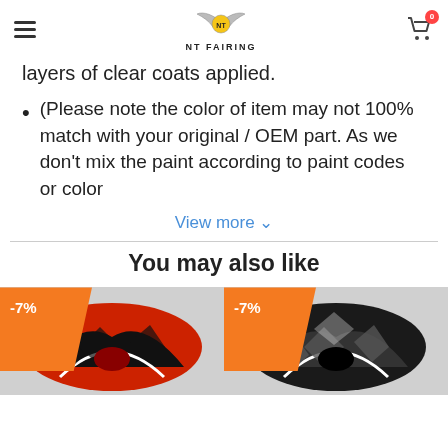NT FAIRING
layers of clear coats applied.
(Please note the color of item may not 100% match with your original / OEM part. As we don't mix the paint according to paint codes or color
View more ˅
You may also like
[Figure (photo): Motorcycle fairing kit in red, black and white colors, with -7% discount badge]
[Figure (photo): Motorcycle fairing kit in black and white colors, with -7% discount badge]